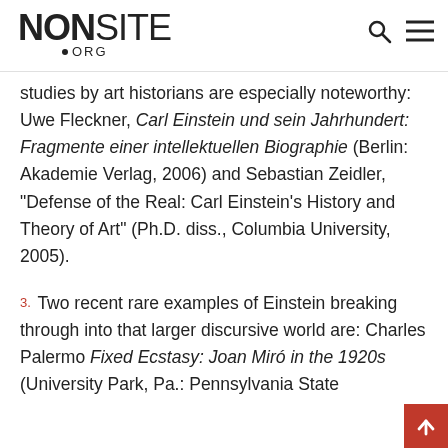NONSITE.ORG
studies by art historians are especially noteworthy: Uwe Fleckner, Carl Einstein und sein Jahrhundert: Fragmente einer intellektuellen Biographie (Berlin: Akademie Verlag, 2006) and Sebastian Zeidler, "Defense of the Real: Carl Einstein's History and Theory of Art" (Ph.D. diss., Columbia University, 2005).
3. Two recent rare examples of Einstein breaking through into that larger discursive world are: Charles Palermo Fixed Ecstasy: Joan Miró in the 1920s (University Park, Pa.: Pennsylvania State